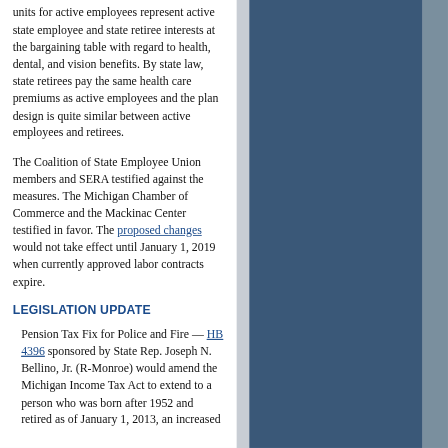units for active employees represent active state employee and state retiree interests at the bargaining table with regard to health, dental, and vision benefits. By state law, state retirees pay the same health care premiums as active employees and the plan design is quite similar between active employees and retirees.
The Coalition of State Employee Union members and SERA testified against the measures. The Michigan Chamber of Commerce and the Mackinac Center testified in favor. The proposed changes would not take effect until January 1, 2019 when currently approved labor contracts expire.
LEGISLATION UPDATE
Pension Tax Fix for Police and Fire — HB 4396 sponsored by State Rep. Joseph N. Bellino, Jr. (R-Monroe) would amend the Michigan Income Tax Act to extend to a person who was born after 1952 and retired as of January 1, 2013, an increased